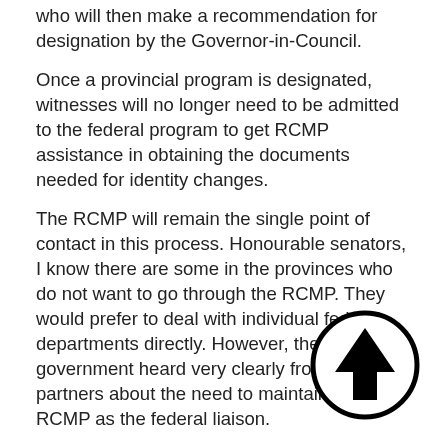who will then make a recommendation for designation by the Governor-in-Council.
Once a provincial program is designated, witnesses will no longer need to be admitted to the federal program to get RCMP assistance in obtaining the documents needed for identity changes.
The RCMP will remain the single point of contact in this process. Honourable senators, I know there are some in the provinces who do not want to go through the RCMP. They would prefer to deal with individual federal departments directly. However, the government heard very clearly from federal partners about the need to maintain the RCMP as the federal liaison.
The measures outlined in Bill C-51 minimize the number of people involved and, as a result, offer the greatest degree of security.
The threats Canadians face have changed dramatically since the Witness Protection Program Act was implemented. Currently, only law enforcement agencies and international criminal tribunals can refer witnesses to the program.
Bill C-51 would allow federal organizations that have a mandate related to national security, defence or public safety to refer witnesses to the federal program. These organizations may include CSIS and the Department of National Defence. This was a
[Figure (illustration): A circular black-bordered button with an upward-pointing arrow icon in the center, used as a navigation element.]